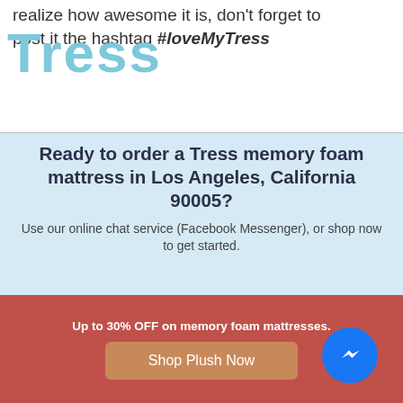realize how awesome it is, don't forget to post it the hashtag #loveMyTress
Ready to order a Tress memory foam mattress in Los Angeles, California 90005?
Use our online chat service (Facebook Messenger), or shop now to get started.
Up to 30% OFF on memory foam mattresses.
Shop Plush Now